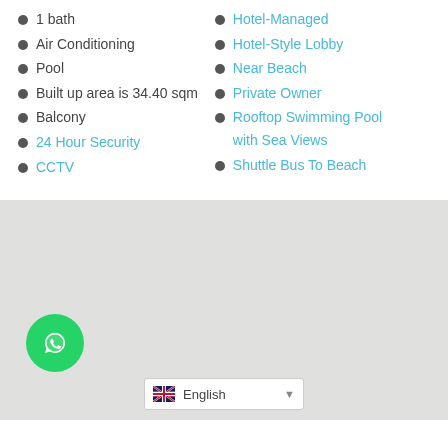1 bath
Air Conditioning
Pool
Built up area is 34.40 sqm
Balcony
24 Hour Security
CCTV
Hotel-Managed
Hotel-Style Lobby
Near Beach
Private Owner
Rooftop Swimming Pool with Sea Views
Shuttle Bus To Beach
[Figure (map): Gray map area showing location, with a WhatsApp chat button (green circle) in the lower left and an English language selector at the bottom center.]